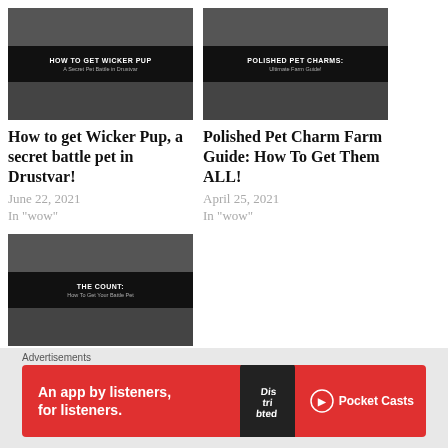[Figure (screenshot): Thumbnail for 'How to get Wicker Pup' article — 3-row thumbnail grid with game screenshots and title card]
How to get Wicker Pup, a secret battle pet in Drustvar!
June 22, 2021
In "wow"
[Figure (screenshot): Thumbnail for 'Polished Pet Charm Farm Guide' article — 3-row thumbnail grid with game screenshots and title card]
Polished Pet Charm Farm Guide: How To Get Them ALL!
April 25, 2021
In "wow"
[Figure (screenshot): Thumbnail for 'How To Get The Count Battle Pet From Revendreth' article — 3-row thumbnail grid with game screenshots and title card]
How To Get The Count Battle Pet From Revendreth!
May 9, 2021
Advertisements
[Figure (screenshot): Pocket Casts advertisement banner — red background with text 'An app by listeners, for listeners.' and Pocket Casts logo]